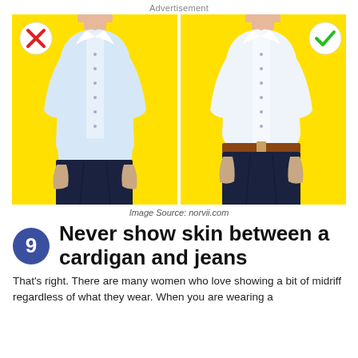Advertisement
[Figure (illustration): Two side-by-side illustrated panels on a yellow background showing a man in a white dress shirt tucked into dark navy trousers. Left panel has a red X circle in the top-left corner (shirt untucked, no belt). Right panel has a green checkmark circle in the top-right corner (shirt tucked in with a brown belt).]
Image Source: norvii.com
9 Never show skin between a cardigan and jeans
That's right. There are many women who love showing a bit of midriff regardless of what they wear. When you are wearing a